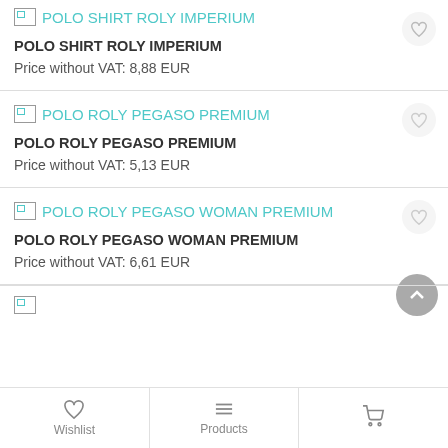POLO SHIRT ROLY IMPERIUM
Price without VAT: 8,88 EUR
POLO ROLY PEGASO PREMIUM
Price without VAT: 5,13 EUR
POLO ROLY PEGASO WOMAN PREMIUM
Price without VAT: 6,61 EUR
Wishlist | Products